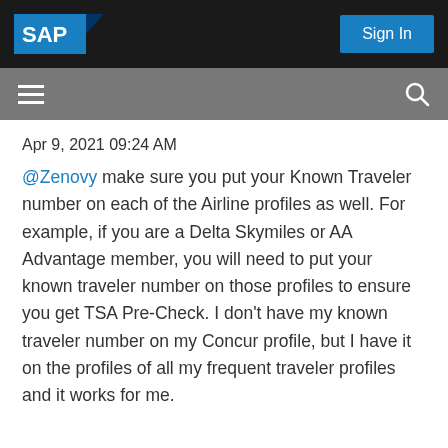SAP | Sign In
Apr 9, 2021 09:24 AM
@Zenovy make sure you put your Known Traveler number on each of the Airline profiles as well. For example, if you are a Delta Skymiles or AA Advantage member, you will need to put your known traveler number on those profiles to ensure you get TSA Pre-Check. I don't have my known traveler number on my Concur profile, but I have it on the profiles of all my frequent traveler profiles and it works for me.